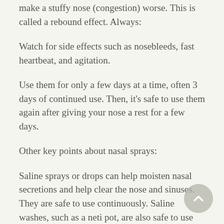make a stuffy nose (congestion) worse. This is called a rebound effect. Always:
Watch for side effects such as nosebleeds, fast heartbeat, and agitation.
Use them for only a few days at a time, often 3 days of continued use. Then, it's safe to use them again after giving your nose a rest for a few days.
Other key points about nasal sprays:
Saline sprays or drops can help moisten nasal secretions and help clear the nose and sinuses. They are safe to use continuously. Saline washes, such as a neti pot, are also safe to use continuously.
Nasal corticosteroid sprays are very effective for treating nasal allergies. Fluticasone, budesonide, and triamcinolone are now available over the counter without